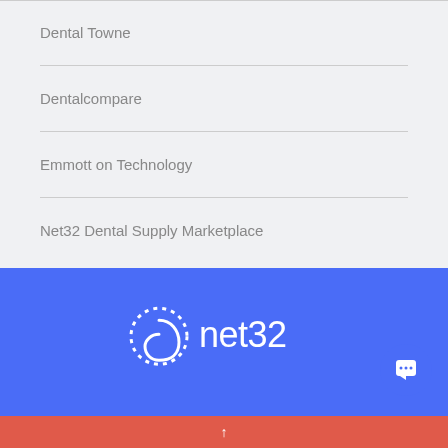Dental Towne
Dentalcompare
Emmott on Technology
Net32 Dental Supply Marketplace
[Figure (logo): net32 logo in white on blue background — dotted circle icon with 'net32' text]